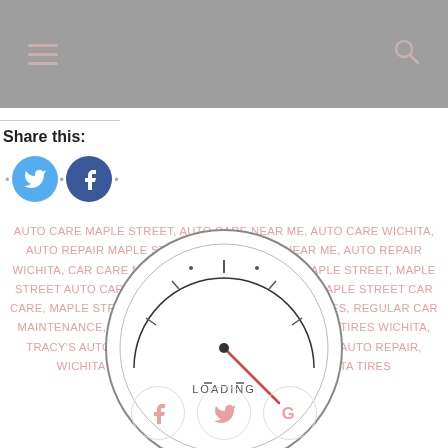Navigation bar with hamburger menu and search icon
Share this:
[Figure (infographic): Twitter and Facebook share buttons with bullet separators]
AUTO CARE MAPLE STREET, AUTO CARE NEAR ME, AUTO CARE WICHITA, AUTO REPAIR MAPLE STREET, AUTO REPAIR NEAR ME, AUTO REPAIR WICHITA, CAR CARE MAPLE STREET, CAR REPAIR MAPLE STREET, MAPLE STREET AUTO CARE, MAPLE STREET AUTO REPAIR, MAPLE STREET CAR CARE, MAPLE STREET CAR REPAIR, MAPLE STREET TIRES, REGULAR CAR MAINTENANCE, TIRES MAPLE STREET, TIRES NEAR ME, TIRES WICHITA, TRACY'S AUTOMOTIVE, WICHITA AUTO CARE, WICHITA AUTO REPAIR, WICHITA CAR CARE, WICHITA CAR REPAIR, WICHITA TIRES
[Figure (infographic): Loading spinner: a circular gauge/speedometer with red needle and LOADING text]
[Figure (infographic): Bottom social sharing buttons: Facebook (f), Twitter bird, Google (G)]